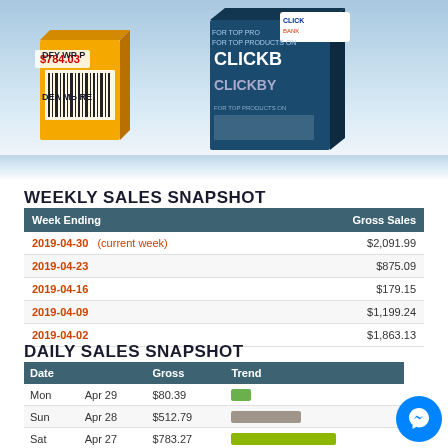[Figure (photo): Product box images showing DFY WP and ClickBank products on a blue/white gradient background]
WEEKLY SALES SNAPSHOT
| Week Ending | Gross Sales |
| --- | --- |
| 2019-04-30   (current week) | $2,091.99 |
| 2019-04-23 | $875.09 |
| 2019-04-16 | $179.15 |
| 2019-04-09 | $1,199.24 |
| 2019-04-02 | $1,863.13 |
DAILY SALES SNAPSHOT
| Date |  | Gross | Trend |
| --- | --- | --- | --- |
| Mon | Apr 29 | $80.39 | green bar short |
| Sun | Apr 28 | $512.79 | gray bar medium |
| Sat | Apr 27 | $783.27 | green bar long |
| Fri | Apr 26 | $178.04 | gray bar short |